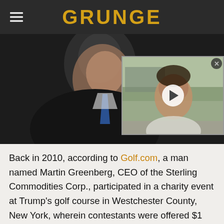GRUNGE
[Figure (photo): Header area showing a man in dark suit with blue tie looking down (left), and a video thumbnail showing a man outdoors with a play button overlay (right)]
Back in 2010, according to Golf.com, a man named Martin Greenberg, CEO of the Sterling Commodities Corp., participated in a charity event at Trump's golf course in Westchester County, New York, wherein contestants were offered $1 million if they could smack a hole-in-one. Impossible? Apparently not because Greenberg succeeded with flying colors. Great shot! But when Greenberg went to claim his winnings, the golf course